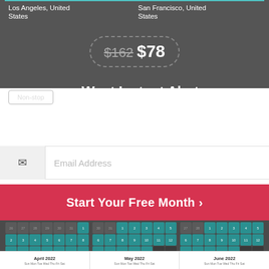Los Angeles, United States
San Francisco, United States
$162  $78
Want Instant Alerts For Deals Like This?
Non-stop
Email Address
Start Your Free Month >
[Figure (screenshot): Three mini calendar grids showing teal/dark date cells]
April 2022  May 2022  June 2022
Sun Mon Tue Wed Thu Fri Sat  Sun Mon Tue Wed Thu Fri Sat  Sun Mon Tue Wed Thu Fri Sat